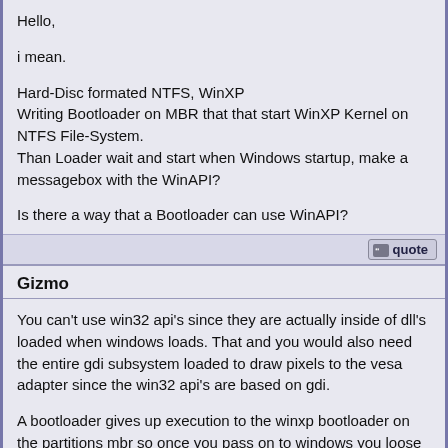Hello,

i mean.

Hard-Disc formated NTFS, WinXP
Writing Bootloader on MBR that that start WinXP Kernel on NTFS File-System.
Than Loader wait and start when Windows startup, make a messagebox with the WinAPI?

Is there a way that a Bootloader can use WinAPI?
Gizmo
You can't use win32 api's since they are actually inside of dll's loaded when windows loads. That and you would also need the entire gdi subsystem loaded to draw pixels to the vesa adapter since the win32 api's are based on gdi.

A bootloader gives up execution to the winxp bootloader on the partitions mbr so once you pass on to windows you loose the ability to run anything.

If you wanted to insert code into some windows component that would execute after windows has loaded you might be able to do that, but it would not be easy since you can't just throw it in there anywhere and expect it not to crash.